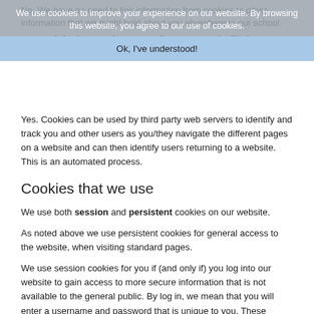No. We have no need to link information from cookies to other information that we might hold about you elsewhere in our school.
Do Third Parties perform such links?
We use cookies to improve your experience on our website. By browsing this website, you agree to our use of cookies.
Ok, I've understood!
Yes. Cookies can be used by third party web servers to identify and track you and other users as you/they navigate the different pages on a website and can then identify users returning to a website. This is an automated process.
Cookies that we use
We use both session and persistent cookies on our website.
As noted above we use persistent cookies for general access to the website, when visiting standard pages.
We use session cookies for you if (and only if) you log into our website to gain access to more secure information that is not available to the general public. By log in, we mean that you will enter a username and password that is unique to you. These cookies are only valid during your logged in session and are automatically removed once you log out.
The names of the cookies that we use on our website, and the purposes for which they are used, are set out below: